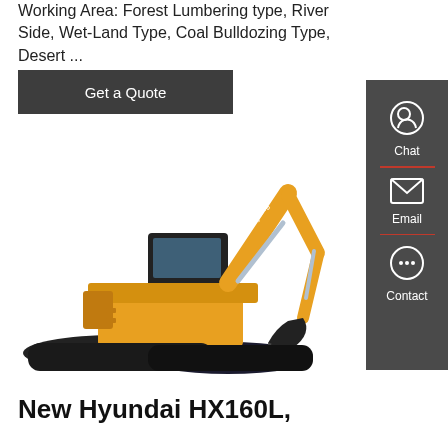Working Area: Forest Lumbering type, River Side, Wet-Land Type, Coal Bulldozing Type, Desert ...
[Figure (other): Dark gray button labeled 'Get a Quote']
[Figure (photo): Yellow Lonyang hydraulic excavator with black tracks and bucket attachment on white background]
New Hyundai HX160L,